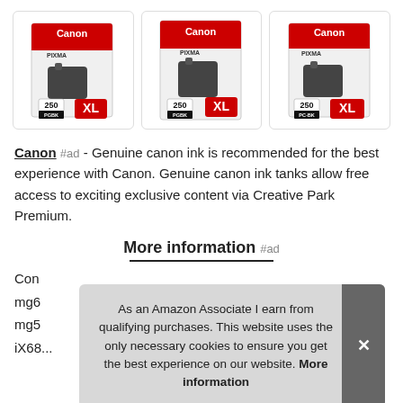[Figure (photo): Three Canon PIXMA 250 XL ink cartridge product boxes displayed side by side in rounded-corner card containers]
Canon #ad - Genuine canon ink is recommended for the best experience with Canon. Genuine canon ink tanks allow free access to exciting exclusive content via Creative Park Premium.
More information #ad
Con mg6 mg5 iX68...
As an Amazon Associate I earn from qualifying purchases. This website uses the only necessary cookies to ensure you get the best experience on our website. More information